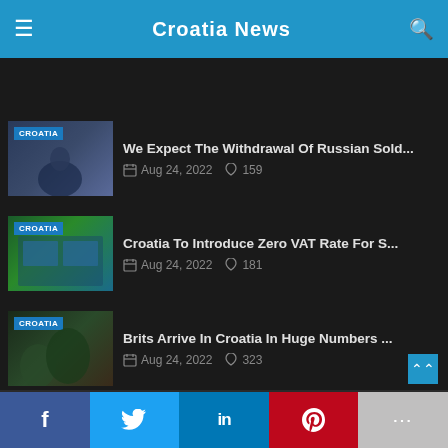≡  [Logo: Croatia News]  🔍
[Figure (photo): Thumbnail of a person in a suit speaking at a podium, CROATIA badge overlay]
We Expect The Withdrawal Of Russian Sold…
Aug 24, 2022  ♡ 159
[Figure (photo): Thumbnail of solar panels with green trees, CROATIA badge overlay]
Croatia To Introduce Zero VAT Rate For S…
Aug 24, 2022  ♡ 181
[Figure (photo): Thumbnail of trees/nature scene, CROATIA badge overlay]
Brits Arrive In Croatia In Huge Numbers …
Aug 24, 2022  ♡ 323
Twitter Feed
About 11 hours ago
Brits arrive in #Croatia in huge numbers in height of summer season https://t.co/hlraKQx1GL https://t.co/48NnNiolbu